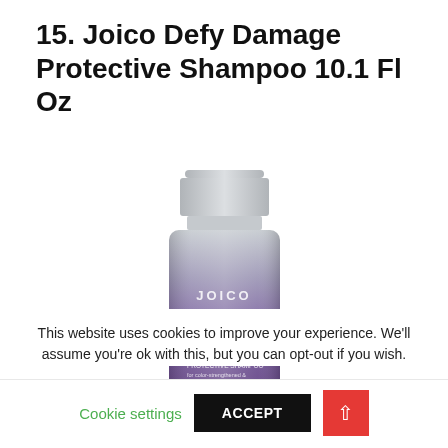15. Joico Defy Damage Protective Shampoo 10.1 Fl Oz
[Figure (photo): Joico Defy Damage Protective Shampoo bottle, 10.1 fl oz, in a purple/metallic gradient bottle with white cap, showing JOICO branding and DEFY DAMAGE label]
This website uses cookies to improve your experience. We'll assume you're ok with this, but you can opt-out if you wish.
Cookie settings  ACCEPT  ↑